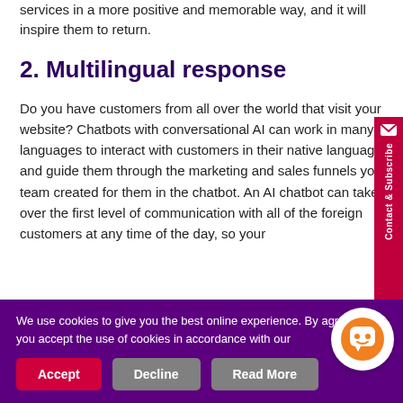services in a more positive and memorable way, and it will inspire them to return.
2.  Multilingual response
Do you have customers from all over the world that visit your website? Chatbots with conversational AI can work in many languages to interact with customers in their native languages and guide them through the marketing and sales funnels your team created for them in the chatbot. An AI chatbot can take over the first level of communication with all of the foreign customers at any time of the day, so your
We use cookies to give you the best online experience. By agreeing you accept the use of cookies in accordance with our policy.
Accept
Decline
Read More